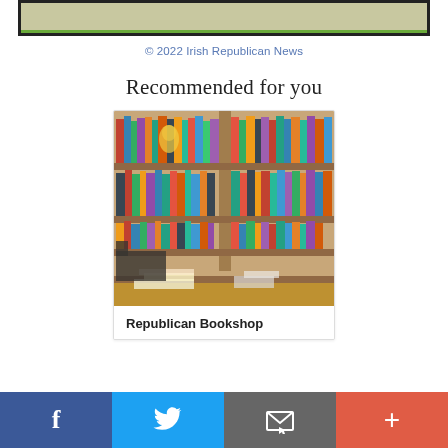[Figure (screenshot): Top portion of a webpage showing a colored banner with a green bottom border, inside a dark-bordered frame]
© 2022 Irish Republican News
Recommended for you
[Figure (photo): Photo of a bookshop interior with shelves filled with colorful books and a desk in the foreground]
Republican Bookshop
f  Twitter bird icon  Email icon  +